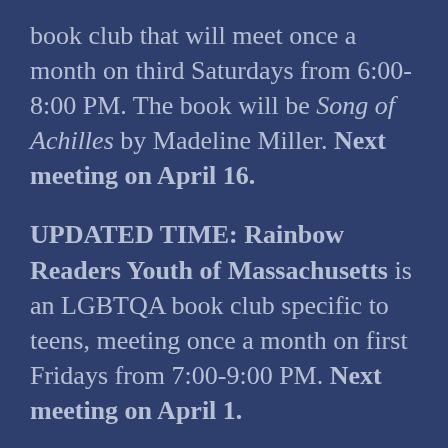book club that will meet once a month on third Saturdays from 6:00-8:00 PM. The book will be Song of Achilles by Madeline Miller. Next meeting on April 16.
UPDATED TIME: Rainbow Readers Youth of Massachusetts is an LGBTQA book club specific to teens, meeting once a month on first Fridays from 7:00-9:00 PM. Next meeting on April 1.
As always, keep an eye on our website and Facebook page for